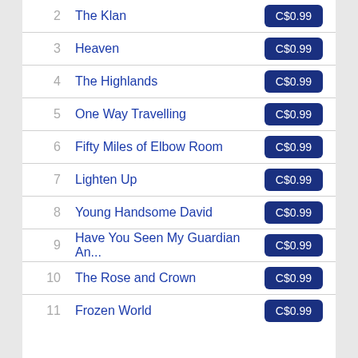2 The Klan C$0.99
3 Heaven C$0.99
4 The Highlands C$0.99
5 One Way Travelling C$0.99
6 Fifty Miles of Elbow Room C$0.99
7 Lighten Up C$0.99
8 Young Handsome David C$0.99
9 Have You Seen My Guardian An... C$0.99
10 The Rose and Crown C$0.99
11 Frozen World C$0.99